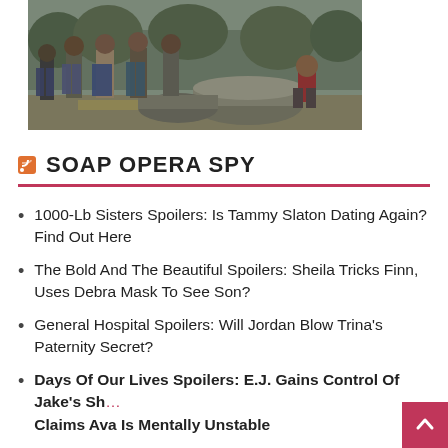[Figure (photo): Group of people (men) standing outdoors in rural/wooded setting, one person seated on large cylindrical object at right]
SOAP OPERA SPY
1000-Lb Sisters Spoilers: Is Tammy Slaton Dating Again? Find Out Here
The Bold And The Beautiful Spoilers: Sheila Tricks Finn, Uses Debra Mask To See Son?
General Hospital Spoilers: Will Jordan Blow Trina's Paternity Secret?
Days Of Our Lives Spoilers: E.J. Gains Control Of Jake's Sh... Claims Ava Is Mentally Unstable